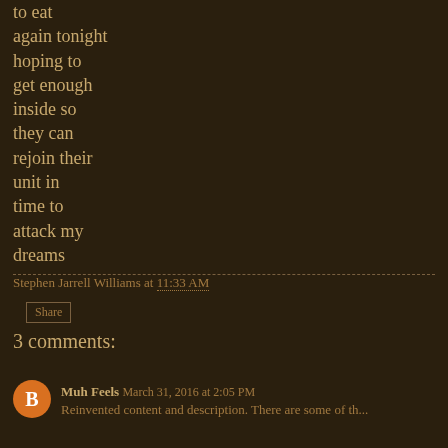to eat
again tonight
hoping to
get enough
inside so
they can
rejoin their
unit in
time to
attack my
dreams
Stephen Jarrell Williams at 11:33 AM
Share
3 comments:
Muh Feels  March 31, 2016 at 2:05 PM